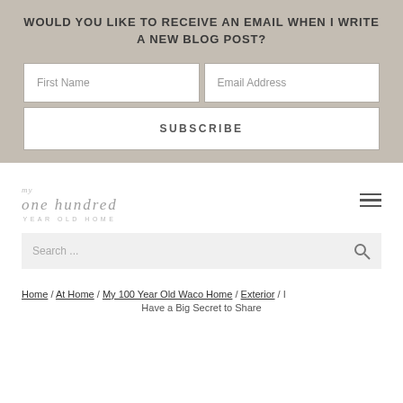WOULD YOU LIKE TO RECEIVE AN EMAIL WHEN I WRITE A NEW BLOG POST?
[Figure (screenshot): Email subscription form with First Name and Email Address input fields and a SUBSCRIBE button]
[Figure (logo): My One Hundred Year Old Home logo in script font with hamburger menu icon]
[Figure (screenshot): Search bar with search icon]
Home / At Home / My 100 Year Old Waco Home / Exterior / I Have a Big Secret to Share